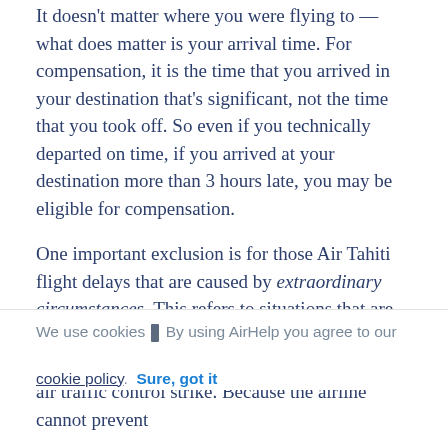It doesn't matter where you were flying to — what does matter is your arrival time. For compensation, it is the time that you arrived in your destination that's significant, not the time that you took off. So even if you technically departed on time, if you arrived at your destination more than 3 hours late, you may be eligible for compensation.
One important exclusion is for those Air Tahiti flight delays that are caused by extraordinary circumstances. This refers to situations that are outside of the airline's control. Common examples are delays caused by bad weather or an air traffic control strike. Because the airline cannot prevent
We use cookies | By using AirHelp you agree to our cookie policy.  Sure, got it